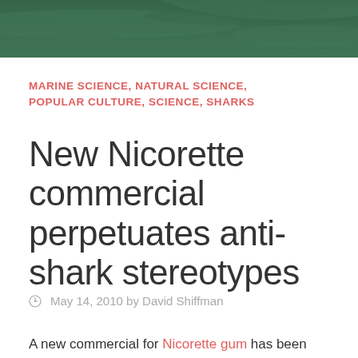[Figure (photo): Dark green underwater/ocean background image at the top of the page]
MARINE SCIENCE, NATURAL SCIENCE, POPULAR CULTURE, SCIENCE, SHARKS
New Nicorette commercial perpetuates anti-shark stereotypes
May 14, 2010 by David Shiffman
A new commercial for Nicorette gum has been